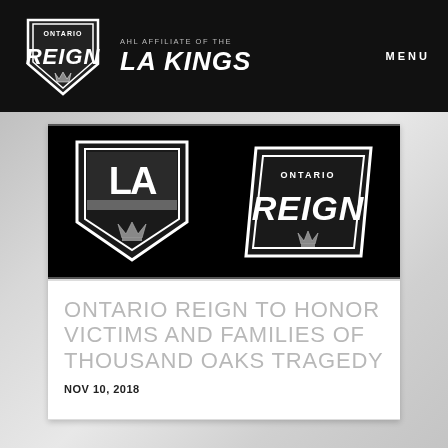Ontario Reign — AHL Affiliate of the LA Kings | MENU
[Figure (logo): Banner image with LA Kings shield logo on the left and Ontario Reign logo on the right on a black background]
ONTARIO REIGN TO HONOR VICTIMS AND FAMILIES OF THOUSAND OAKS TRAGEDY
NOV 10, 2018